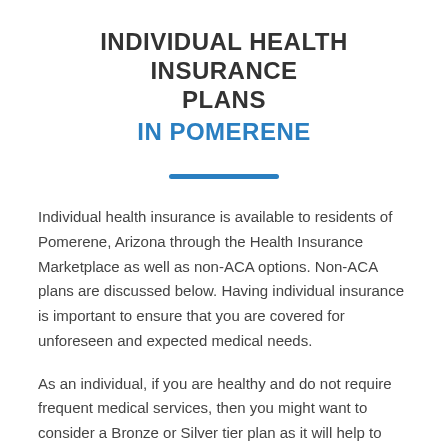INDIVIDUAL HEALTH INSURANCE PLANS IN POMERENE
Individual health insurance is available to residents of Pomerene, Arizona through the Health Insurance Marketplace as well as non-ACA options. Non-ACA plans are discussed below. Having individual insurance is important to ensure that you are covered for unforeseen and expected medical needs.
As an individual, if you are healthy and do not require frequent medical services, then you might want to consider a Bronze or Silver tier plan as it will help to reduce the monthly payments that you have to make. If